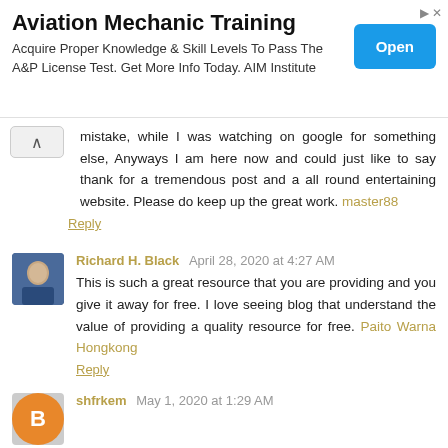[Figure (other): Advertisement banner: Aviation Mechanic Training. Text: Acquire Proper Knowledge & Skill Levels To Pass The A&P License Test. Get More Info Today. AIM Institute. Blue Open button on right.]
mistake, while I was watching on google for something else, Anyways I am here now and could just like to say thank for a tremendous post and a all round entertaining website. Please do keep up the great work. master88
Reply
Richard H. Black  April 28, 2020 at 4:27 AM
This is such a great resource that you are providing and you give it away for free. I love seeing blog that understand the value of providing a quality resource for free. Paito Warna Hongkong
Reply
shfrkem  May 1, 2020 at 1:29 AM